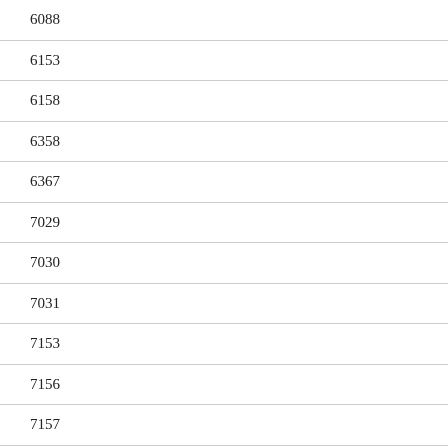6088
6153
6158
6358
6367
7029
7030
7031
7153
7156
7157